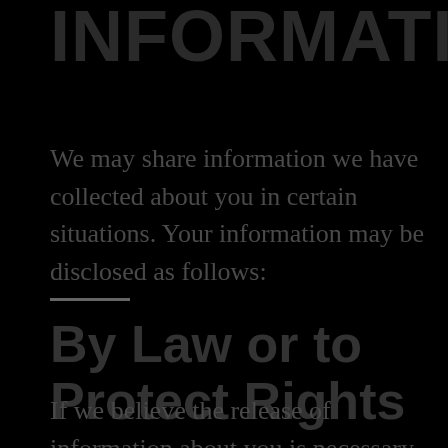INFORMATION
We may share information we have collected about you in certain situations. Your information may be disclosed as follows:
By Law or to Protect Rights
If we believe the release of information about you is necessary to respond to legal process